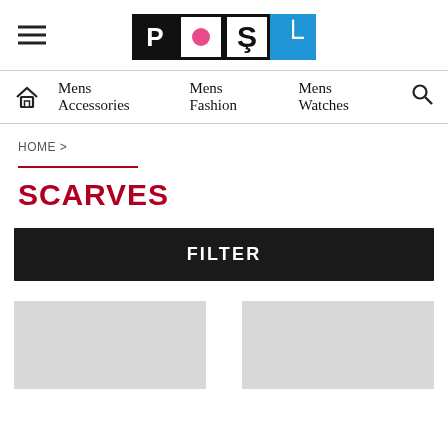[Figure (logo): PORT logo with hamburger menu icon. Logo consists of four boxes: black box with white 'P', white box with pink circle 'O', white box with black reversed 'J' for 'R', blue box with white 'T'.]
Mens Accessories   Mens Fashion   Mens Watches
HOME >
SCARVES
FILTER
[Figure (photo): Two light gray product thumbnail placeholders side by side at bottom of page.]